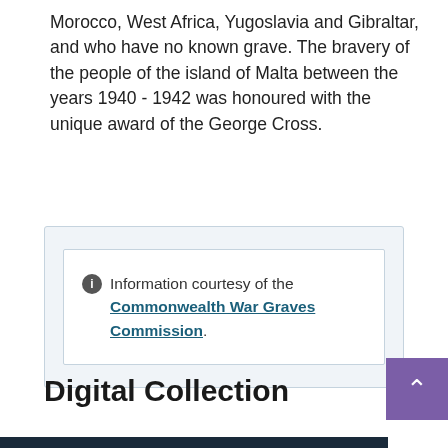Morocco, West Africa, Yugoslavia and Gibraltar, and who have no known grave. The bravery of the people of the island of Malta between the years 1940 - 1942 was honoured with the unique award of the George Cross.
Information courtesy of the Commonwealth War Graves Commission.
Digital Collection